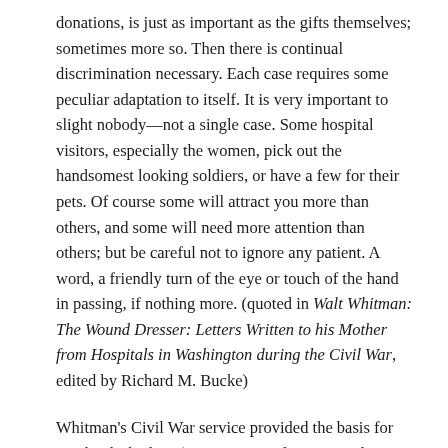donations, is just as important as the gifts themselves; sometimes more so. Then there is continual discrimination necessary. Each case requires some peculiar adaptation to itself. It is very important to slight nobody—not a single case. Some hospital visitors, especially the women, pick out the handsomest looking soldiers, or have a few for their pets. Of course some will attract you more than others, and some will need more attention than others; but be careful not to ignore any patient. A word, a friendly turn of the eye or touch of the hand in passing, if nothing more. (quoted in Walt Whitman: The Wound Dresser: Letters Written to his Mother from Hospitals in Washington during the Civil War, edited by Richard M. Bucke)
Whitman's Civil War service provided the basis for two books by him (Drum-Taps and Memoranda During the War), with the poems of the former book expanding the content and scope of Leaves of Grass and Whitman becoming, it could be